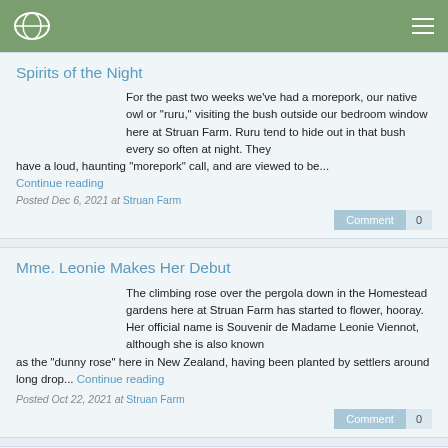Struan Farm
Spirits of the Night
For the past two weeks we've had a morepork, our native owl or "ruru," visiting the bush outside our bedroom window here at Struan Farm. Ruru tend to hide out in that bush every so often at night. They have a loud, haunting "morepork" call, and are viewed to be...
Continue reading
Posted Dec 6, 2021 at Struan Farm
Comment 0
Mme. Leonie Makes Her Debut
The climbing rose over the pergola down in the Homestead gardens here at Struan Farm has started to flower, hooray. Her official name is Souvenir de Madame Leonie Viennot, although she is also known as the "dunny rose" here in New Zealand, having been planted by settlers around long drop... Continue reading
Posted Oct 22, 2021 at Struan Farm
Comment 0
Evoking Cirque du Soleil and the Wizard of Oz,